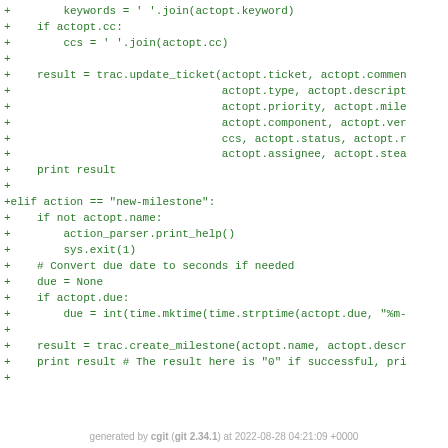[Figure (screenshot): A code diff screenshot showing Python code in green monospace font on white background. Lines start with '+' indicating added lines in a git diff. Code involves updating a ticket and creating a milestone using trac API calls.]
generated by cgit (git 2.34.1) at 2022-08-28 04:21:09 +0000